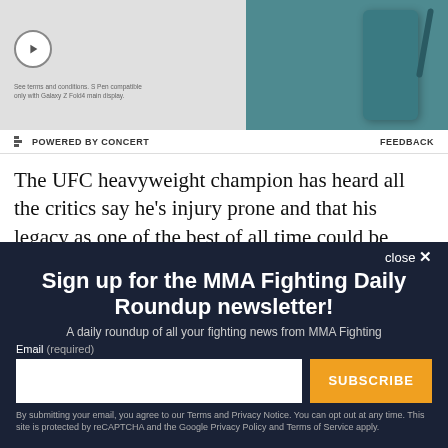[Figure (photo): Advertisement banner showing a phone/device product with teal color on the right and a play button icon on the left with small text]
POWERED BY CONCERT    FEEDBACK
The UFC heavyweight champion has heard all the critics say he's injury prone and that his legacy as one of the best of all time could be affected by inactivity. Velasquez cares very
close ×
Sign up for the MMA Fighting Daily Roundup newsletter!
A daily roundup of all your fighting news from MMA Fighting
Email (required)
SUBSCRIBE
By submitting your email, you agree to our Terms and Privacy Notice. You can opt out at any time. This site is protected by reCAPTCHA and the Google Privacy Policy and Terms of Service apply.